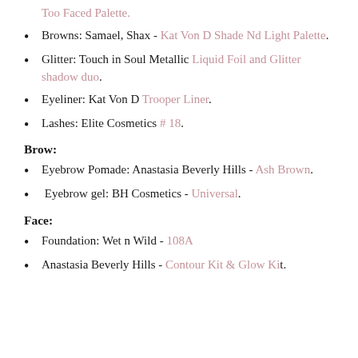Too Faced Palette.
Browns: Samael, Shax - Kat Von D Shade Nd Light Palette.
Glitter: Touch in Soul Metallic Liquid Foil and Glitter shadow duo.
Eyeliner: Kat Von D Trooper Liner.
Lashes: Elite Cosmetics #18.
Brow:
Eyebrow Pomade: Anastasia Beverly Hills - Ash Brown.
Eyebrow gel: BH Cosmetics - Universal.
Face:
Foundation: Wet n Wild - 108A
Anastasia Beverly Hills - Contour Kit & Glow Kit.